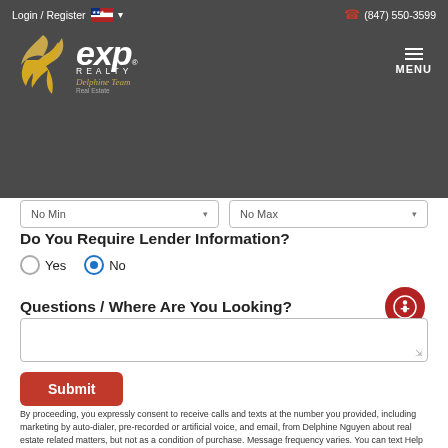Login / Register  (847) 550-3599  eXp Realty - Delphine Team  MENU
[Figure (screenshot): Two dropdown boxes labeled No Min and No Max]
Do You Require Lender Information?
Yes  No (radio buttons, No selected)
Questions / Where Are You Looking?
[Figure (other): Accessibility icon button - red circle with person icon]
Submit button and text area
By proceeding, you expressly consent to receive calls and texts at the number you provided, including marketing by auto-dialer, pre-recorded or artificial voice, and email, from Delphine Nguyen about real estate related matters, but not as a condition of purchase. Message frequency varies. You can text Help for help and Stop to cancel. You also agree to our Terms of Service and to our Privacy Policy regarding the information relating to you. Message and data rates may apply. This consent applies even if you are on a corporate, state or national Do Not Call list.